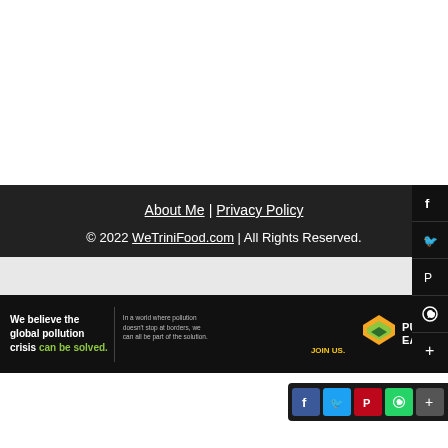About Me | Privacy Policy
© 2022 WeTrinifood.com | All Rights Reserved.
[Figure (infographic): Pure Earth advertisement banner: 'We believe the global pollution crisis can be solved.' with JOIN US call to action and Pure Earth logo]
[Figure (infographic): Social media share bar with Facebook, Twitter, Pinterest, WhatsApp, and plus icons]